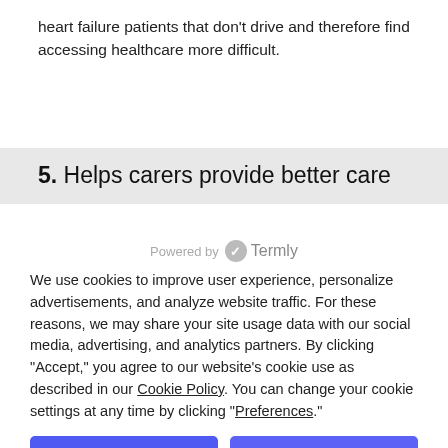heart failure patients that don't drive and therefore find accessing healthcare more difficult.
5. Helps carers provide better care
Powered by Termly
We use cookies to improve user experience, personalize advertisements, and analyze website traffic. For these reasons, we may share your site usage data with our social media, advertising, and analytics partners. By clicking “Accept,” you agree to our website’s cookie use as described in our Cookie Policy. You can change your cookie settings at any time by clicking “Preferences.”
Decline
Accept
Preferences